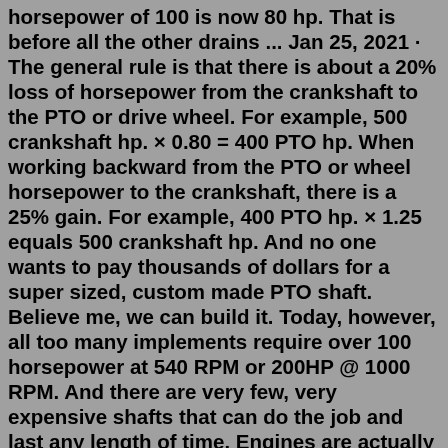horsepower of 100 is now 80 hp. That is before all the other drains ... Jan 25, 2021 · The general rule is that there is about a 20% loss of horsepower from the crankshaft to the PTO or drive wheel. For example, 500 crankshaft hp. × 0.80 = 400 PTO hp. When working backward from the PTO or wheel horsepower to the crankshaft, there is a 25% gain. For example, 400 PTO hp. × 1.25 equals 500 crankshaft hp. And no one wants to pay thousands of dollars for a super sized, custom made PTO shaft. Believe me, we can build it. Today, however, all too many implements require over 100 horsepower at 540 RPM or 200HP @ 1000 RPM. And there are very few, very expensive shafts that can do the job and last any length of time. Engines are actually producing torque or the rotational equivalent of a linear force. Remember, horsepower is just a marketing analogy thought up by Mr. Watt, so one has to convert torque to horsepower to measure an engine's HP. The formula for converting torque to horsepower is: Torque = (Horsepower x 5,252) ÷ RPM A PTO drive